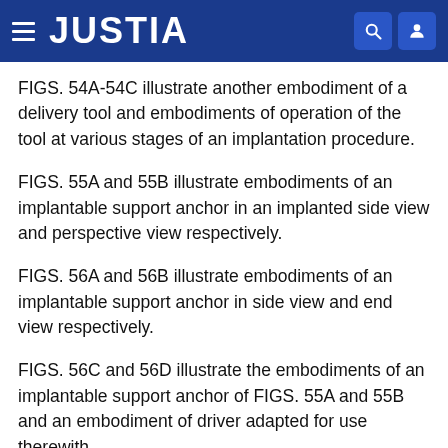JUSTIA
FIGS. 54A-54C illustrate another embodiment of a delivery tool and embodiments of operation of the tool at various stages of an implantation procedure.
FIGS. 55A and 55B illustrate embodiments of an implantable support anchor in an implanted side view and perspective view respectively.
FIGS. 56A and 56B illustrate embodiments of an implantable support anchor in side view and end view respectively.
FIGS. 56C and 56D illustrate the embodiments of an implantable support anchor of FIGS. 55A and 55B and an embodiment of driver adapted for use therewith.
FIGS. 57A and 57B illustrate perspective views of embodiments of implantable support anchor with a